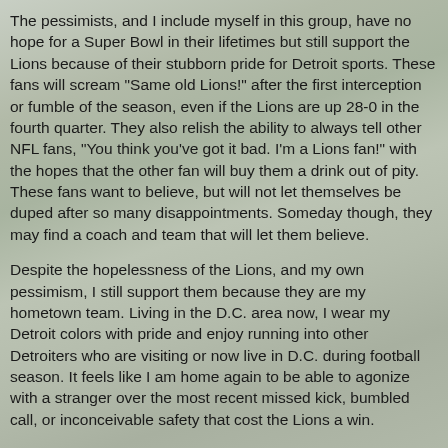The pessimists, and I include myself in this group, have no hope for a Super Bowl in their lifetimes but still support the Lions because of their stubborn pride for Detroit sports. These fans will scream "Same old Lions!" after the first interception or fumble of the season, even if the Lions are up 28-0 in the fourth quarter. They also relish the ability to always tell other NFL fans, "You think you've got it bad. I'm a Lions fan!" with the hopes that the other fan will buy them a drink out of pity. These fans want to believe, but will not let themselves be duped after so many disappointments. Someday though, they may find a coach and team that will let them believe.
Despite the hopelessness of the Lions, and my own pessimism, I still support them because they are my hometown team. Living in the D.C. area now, I wear my Detroit colors with pride and enjoy running into other Detroiters who are visiting or now live in D.C. during football season. It feels like I am home again to be able to agonize with a stranger over the most recent missed kick, bumbled call, or inconceivable safety that cost the Lions a win.